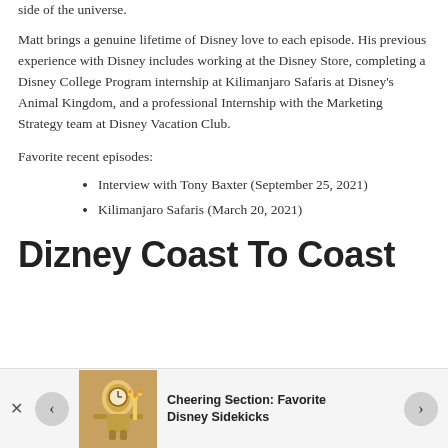side of the universe.
Matt brings a genuine lifetime of Disney love to each episode. His previous experience with Disney includes working at the Disney Store, completing a Disney College Program internship at Kilimanjaro Safaris at Disney's Animal Kingdom, and a professional Internship with the Marketing Strategy team at Disney Vacation Club.
Favorite recent episodes:
Interview with Tony Baxter (September 25, 2021)
Kilimanjaro Safaris (March 20, 2021)
Dizney Coast To Coast
Cheering Section: Favorite Disney Sidekicks